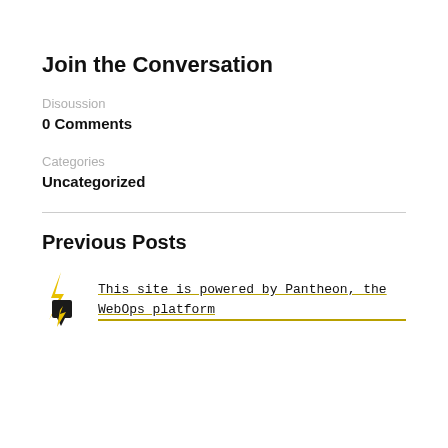Join the Conversation
Disoussion
0 Comments
Categories
Uncategorized
Previous Posts
[Figure (logo): Pantheon WebOps platform logo — lightning bolt icon with a black card/tag shape]
This site is powered by Pantheon, the WebOps platform
All Rights Reserved © 2004 – 2022 McInBlog  •  Legal